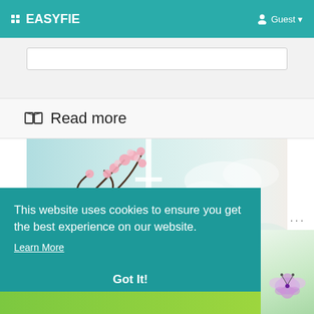EASYFIE   Guest
Read more
[Figure (photo): Cherry blossom branches with pink flowers against a soft teal-blue sky background with white window frame]
This website uses cookies to ensure you get the best experience on our website.
Learn More
Got It!